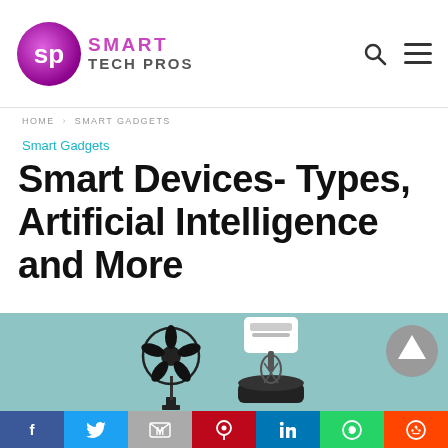Smart Tech Pros
HOME › SMART GADGETS
Smart Gadgets
Smart Devices- Types, Artificial Intelligence and More
[Figure (illustration): Illustration of home appliances (fan, mixer) on a teal background]
[Figure (infographic): Social sharing bar with Facebook, Twitter, Mail, Pinterest, LinkedIn, WhatsApp, Reddit buttons]